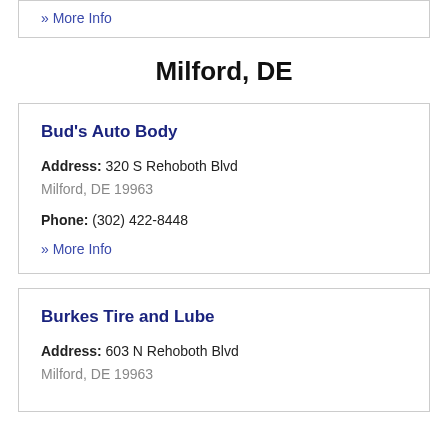» More Info
Milford, DE
Bud's Auto Body
Address: 320 S Rehoboth Blvd
Milford, DE 19963
Phone: (302) 422-8448
» More Info
Burkes Tire and Lube
Address: 603 N Rehoboth Blvd
Milford, DE 19963